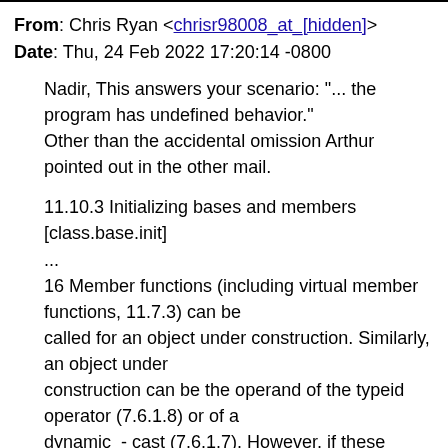From: Chris Ryan <chrisr98008_at_[hidden]>
Date: Thu, 24 Feb 2022 17:20:14 -0800
Nadir, This answers your scenario: "... the program has undefined behavior."
Other than the accidental omission Arthur pointed out in the other mail.
11.10.3 Initializing bases and members [class.base.init]
...
16 Member functions (including virtual member functions, 11.7.3) can be called for an object under construction. Similarly, an object under construction can be the operand of the typeid operator (7.6.1.8) or of a dynamic_- cast (7.6.1.7). However, if these operations are performed in a ctor-initializer (or in a function called directly or